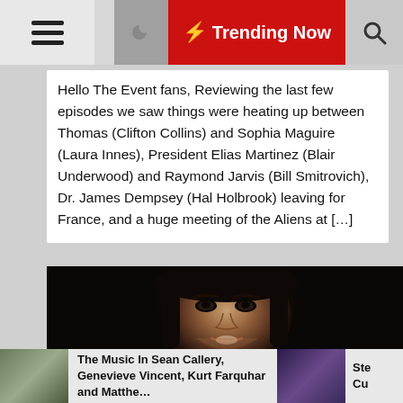☰  🌙  ⚡ Trending Now  🔍
Hello The Event fans, Reviewing the last few episodes we saw things were heating up between Thomas (Clifton Collins) and Sophia Maguire (Laura Innes), President Elias Martinez (Blair Underwood) and Raymond Jarvis (Bill Smitrovich), Dr. James Dempsey (Hal Holbrook) leaving for France, and a huge meeting of the Aliens at [...]
[Figure (photo): Dark portrait photo of a young woman with dark hair looking directly at camera against a dark background]
Anna Clark   Bill Smitrovich   Blair Underwood
The Music In Sean Callery, Genevieve Vincent, Kurt Farquhar and Matthe...
Ste Cu